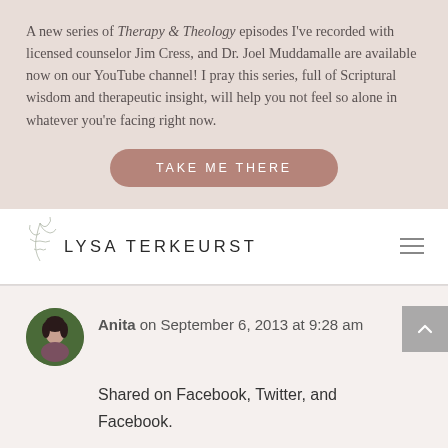A new series of Therapy & Theology episodes I've recorded with licensed counselor Jim Cress, and Dr. Joel Muddamalle are available now on our YouTube channel! I pray this series, full of Scriptural wisdom and therapeutic insight, will help you not feel so alone in whatever you're facing right now.
[Figure (other): Button labeled TAKE ME THERE with rounded corners, dusty rose/mauve color]
[Figure (logo): Lysa TerKeurst logo with decorative leaf/botanical element and uppercase text LYSA TERKEURST]
[Figure (other): Hamburger menu icon (three horizontal lines)]
[Figure (photo): Circular avatar photo of a woman named Anita with dark hair, outdoors green background]
Anita on September 6, 2013 at 9:28 am
Shared on Facebook, Twitter, and Facebook.
[Figure (other): REPLY button with rounded corners, dusty rose/mauve color]